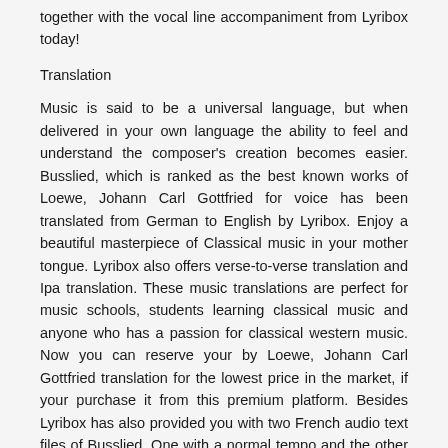together with the vocal line accompaniment from Lyribox today!
Translation
Music is said to be a universal language, but when delivered in your own language the ability to feel and understand the composer's creation becomes easier. Busslied, which is ranked as the best known works of Loewe, Johann Carl Gottfried for voice has been translated from German to English by Lyribox. Enjoy a beautiful masterpiece of Classical music in your mother tongue. Lyribox also offers verse-to-verse translation and Ipa translation. These music translations are perfect for music schools, students learning classical music and anyone who has a passion for classical western music. Now you can reserve your by Loewe, Johann Carl Gottfried translation for the lowest price in the market, if your purchase it from this premium platform. Besides Lyribox has also provided you with two French audio text files of Busslied. One with a normal tempo and the other with a bit slowed version. Based on your preference you can choose the ideal A battaglia pensieri audio file to adopt.